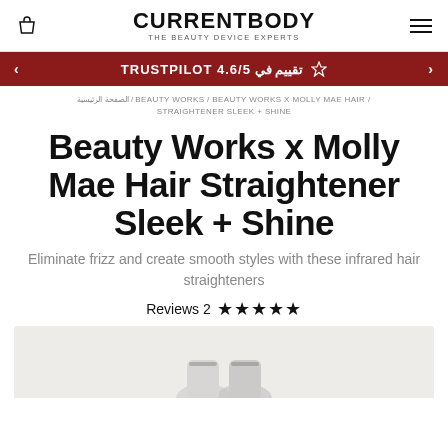CURRENTBODY THE BEAUTY DEVICE EXPERTS
تقييم في TRUSTPILOT 4.6/5
الصفحة الرئيسية / BEAUTY WORKS / BEAUTY WORKS X MOLLY MAE HAIR / STRAIGHTENER SLEEK + SHINE
Beauty Works x Molly Mae Hair Straightener Sleek + Shine
Eliminate frizz and create smooth styles with these infrared hair straighteners
Reviews 2 ★★★★★
[Figure (photo): Partial product image of the Beauty Works x Molly Mae Hair Straightener Sleek + Shine, showing the top portion of the device in white/silver color on a light gray background.]